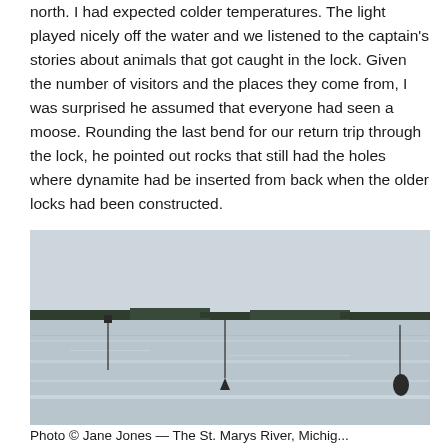north. I had expected colder temperatures. The light played nicely off the water and we listened to the captain's stories about animals that got caught in the lock. Given the number of visitors and the places they come from, I was surprised he assumed that everyone had seen a moose. Rounding the last bend for our return trip through the lock, he pointed out rocks that still had the holes where dynamite had be inserted from back when the older locks had been constructed.
[Figure (photo): Wide panoramic photo of the St. Marys River, Michigan — a broad expanse of calm, silvery-grey water reflecting light, with a low treeline on the distant shore, small navigation marker buoys in the water, and an overcast sky.]
Photo © Jane Jones — The St. Marys River, Michig...